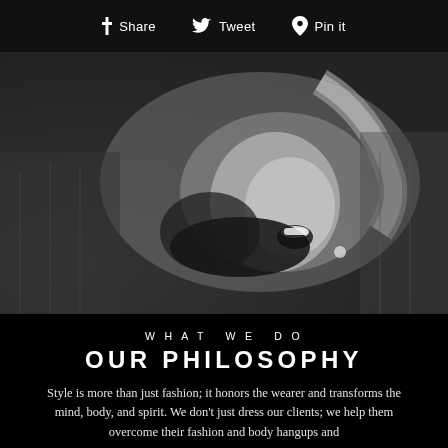Share  Tweet  Pin it
[Figure (photo): Black and white photo of a laughing woman lying down with arm raised, candid joyful pose]
WHAT WE DO
OUR PHILOSOPHY
Style is more than just fashion; it honors the wearer and transforms the mind, body, and spirit. We don't just dress our clients; we help them overcome their fashion and body hangups and...